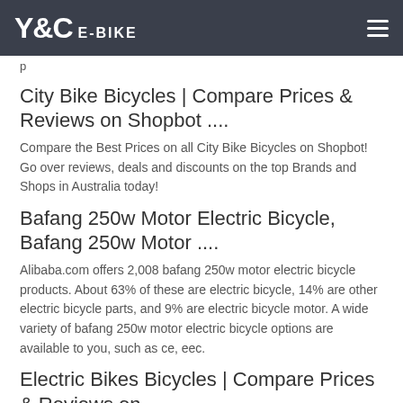Y&C E-BIKE
p
City Bike Bicycles | Compare Prices & Reviews on Shopbot ....
Compare the Best Prices on all City Bike Bicycles on Shopbot! Go over reviews, deals and discounts on the top Brands and Shops in Australia today!
Bafang 250w Motor Electric Bicycle, Bafang 250w Motor ....
Alibaba.com offers 2,008 bafang 250w motor electric bicycle products. About 63% of these are electric bicycle, 14% are other electric bicycle parts, and 9% are electric bicycle motor. A wide variety of bafang 250w motor electric bicycle options are available to you, such as ce, eec.
Electric Bikes Bicycles | Compare Prices & Reviews on